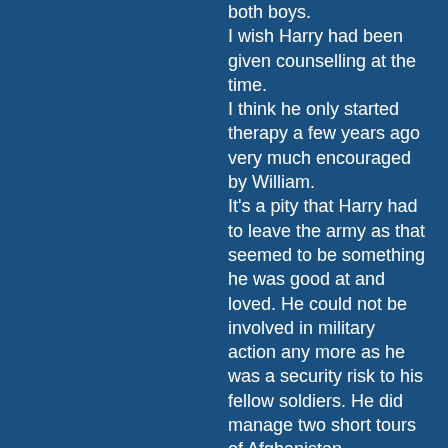both boys. I wish Harry had been given counselling at the time. I think he only started therapy a few years ago very much encouraged by William. It's a pity that Harry had to leave the army as that seemed to be something he was good at and loved. He could not be involved in military action any more as he was a security risk to his fellow soldiers. He did manage two short tours of Afghanistan. We have to remember that William went through the